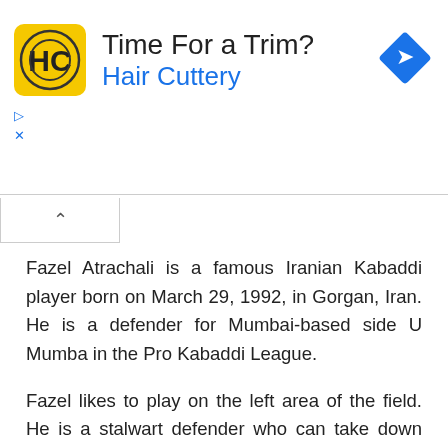[Figure (advertisement): Hair Cuttery advertisement banner with yellow HC logo, text 'Time For a Trim? Hair Cuttery', and a blue diamond navigation icon]
Fazel Atrachali is a famous Iranian Kabaddi player born on March 29, 1992, in Gorgan, Iran. He is a defender for Mumbai-based side U Mumba in the Pro Kabaddi League.
Fazel likes to play on the left area of the field. He is a stalwart defender who can take down even the most skilled raiders. He is seasoned enough to know when to respond rapidly but yet patient enough to hold back.
Captain Of U Mumba
Ba...